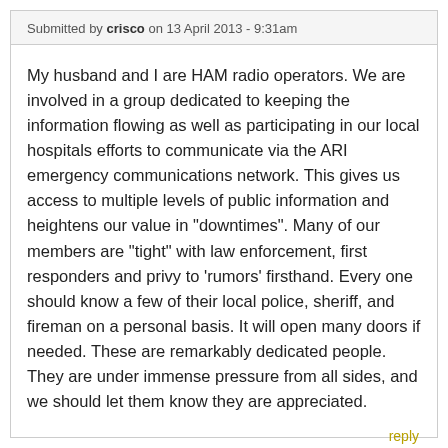Submitted by crisco on 13 April 2013 - 9:31am
My husband and I are HAM radio operators. We are involved in a group dedicated to keeping the information flowing as well as participating in our local hospitals efforts to communicate via the ARI emergency communications network. This gives us access to multiple levels of public information and heightens our value in "downtimes". Many of our members are "tight" with law enforcement, first responders and privy to 'rumors' firsthand. Every one should know a few of their local police, sheriff, and fireman on a personal basis. It will open many doors if needed. These are remarkably dedicated people. They are under immense pressure from all sides, and we should let them know they are appreciated.
reply